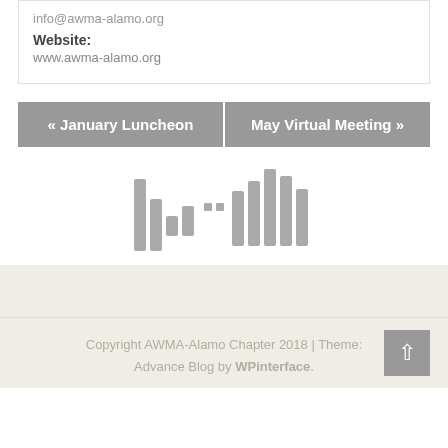info@awma-alamo.org
Website:
www.awma-alamo.org
« January Luncheon
May Virtual Meeting »
[Figure (other): Audio player waveform icon — grey vertical bars of varying heights forming a waveform/audio visualization graphic]
Copyright AWMA-Alamo Chapter 2018 | Theme: Advance Blog by WPinterface.